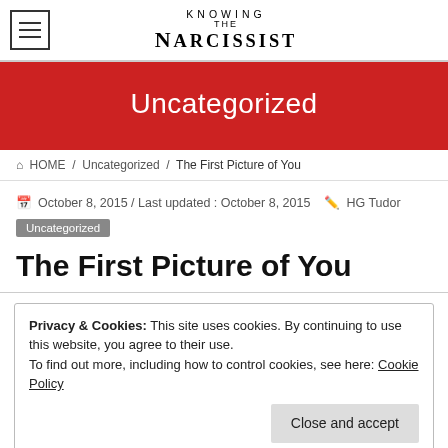KNOWING THE NARCISSIST
Uncategorized
HOME / Uncategorized / The First Picture of You
October 8, 2015 / Last updated : October 8, 2015  HG Tudor
Uncategorized
The First Picture of You
Privacy & Cookies: This site uses cookies. By continuing to use this website, you agree to their use.
To find out more, including how to control cookies, see here: Cookie Policy
Close and accept